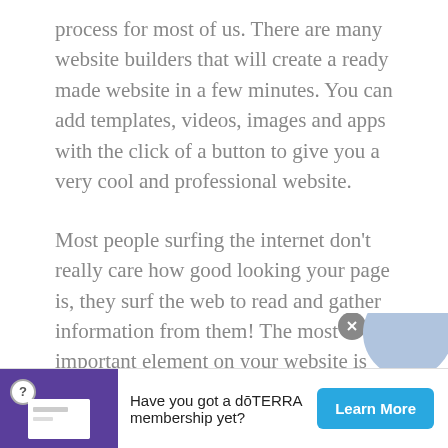process for most of us. There are many website builders that will create a ready made website in a few minutes. You can add templates, videos, images and apps with the click of a button to give you a very cool and professional website.
Most people surfing the internet don't really care how good looking your page is, they surf the web to read and gather information from them! The most important element on your website is going to be the articles you publish to it. If you have ever heard of 'blogging', then you know what I'm talking about.
At one time, blogging was like a online personal / pu...
[Figure (other): Partial advertisement banner at the bottom: doTERRA purple logo area with info icon and white card, text 'Have you got a dōTERRA membership yet?', and a cyan 'Learn More' button. A partial avatar/chat widget is visible above the ad bar on the right.]